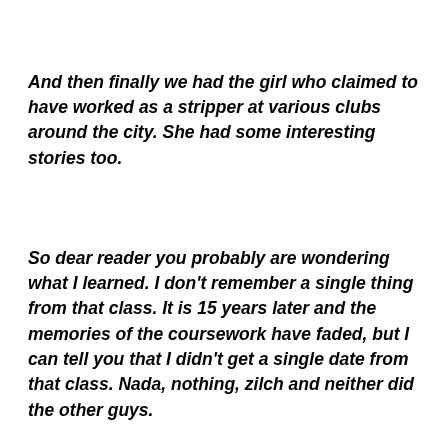And then finally we had the girl who claimed to have worked as a stripper at various clubs around the city. She had some interesting stories too.
So dear reader you probably are wondering what I learned. I don't remember a single thing from that class. It is 15 years later and the memories of the coursework have faded, but I can tell you that I didn't get a single date from that class. Nada, nothing, zilch and neither did the other guys.